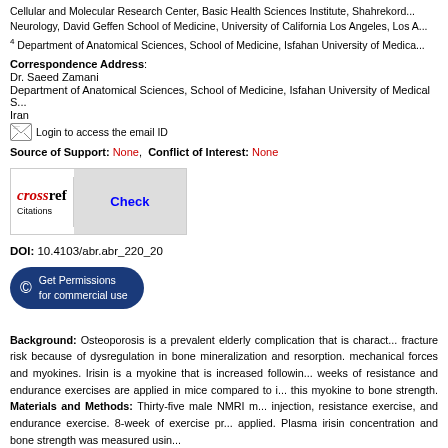Cellular and Molecular Research Center, Basic Health Sciences Institute, Shahrekord... Neurology, David Geffen School of Medicine, University of California Los Angeles, Los A...
4 Department of Anatomical Sciences, School of Medicine, Isfahan University of Medica...
Correspondence Address: Dr. Saeed Zamani Department of Anatomical Sciences, School of Medicine, Isfahan University of Medical S... Iran Login to access the email ID
Source of Support: None, Conflict of Interest: None
[Figure (logo): CrossRef Citations Check button logo with red 'cross' and blue 'Check' text on grey background]
DOI: 10.4103/abr.abr_220_20
[Figure (other): Dark blue rounded button: Get Permissions for commercial use]
Background: Osteoporosis is a prevalent elderly complication that is characterized by fracture risk because of dysregulation in bone mineralization and resorption. mechanical forces and myokines. Irisin is a myokine that is increased following weeks of resistance and endurance exercises are applied in mice compared to i... this myokine to bone strength. Materials and Methods: Thirty-five male NMRI m... injection, resistance exercise, and endurance exercise. 8-week of exercise pr... applied. Plasma irisin concentration and bone strength was measured usin...